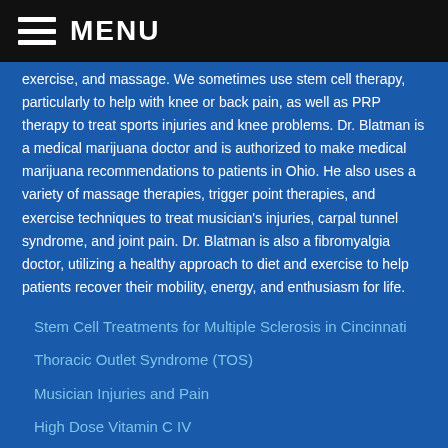MENU
exercise, and massage. We sometimes use stem cell therapy, particularly to help with knee or back pain, as well as PRP therapy to treat sports injuries and knee problems. Dr. Blatman is a medical marijuana doctor and is authorized to make medical marijuana recommendations to patients in Ohio. He also uses a variety of massage therapies, trigger point therapies, and exercise techniques to treat musician’s injuries, carpal tunnel syndrome, and joint pain. Dr. Blatman is also a fibromyalgia doctor, utilizing a healthy approach to diet and exercise to help patients recover their mobility, energy, and enthusiasm for life.
Stem Cell Treatments for Multiple Sclerosis in Cincinnati
Thoracic Outlet Syndrome (TOS)
Musician Injuries and Pain
High Dose Vitamin C IV